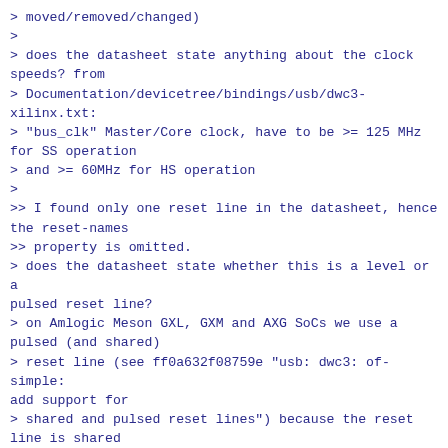> moved/removed/changed)
>
> does the datasheet state anything about the clock speeds? from
> Documentation/devicetree/bindings/usb/dwc3-xilinx.txt:
> "bus_clk" Master/Core clock, have to be >= 125 MHz for SS operation
> and >= 60MHz for HS operation
>
>> I found only one reset line in the datasheet, hence the reset-names
>> property is omitted.
> does the datasheet state whether this is a level or a pulsed reset line?
> on Amlogic Meson GXL, GXM and AXG SoCs we use a pulsed (and shared)
> reset line (see ff0a632f08759e "usb: dwc3: of-simple: add support for
> shared and pulsed reset lines") because the reset line is shared
> between various components (USB2 PHY, USB3 PHY, dwc3 controller, ...)
> your current approach (having a vendor-specific "foo,dwc3" binding
> along with the generic "snps,dwc3") would allow having
> per-"of_device_id" settings which could indicate whether the reset
> lines are level or pulsed reset if these are